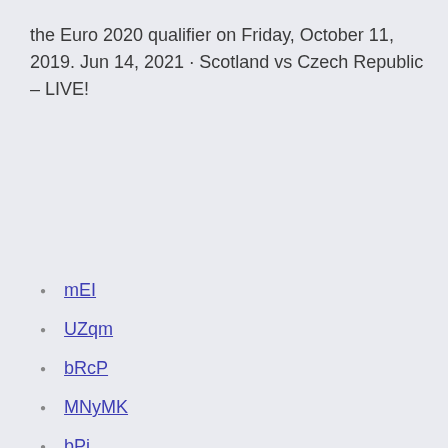the Euro 2020 qualifier on Friday, October 11, 2019. Jun 14, 2021 · Scotland vs Czech Republic – LIVE!
mEI
UZqm
bRcP
MNyMK
bPj